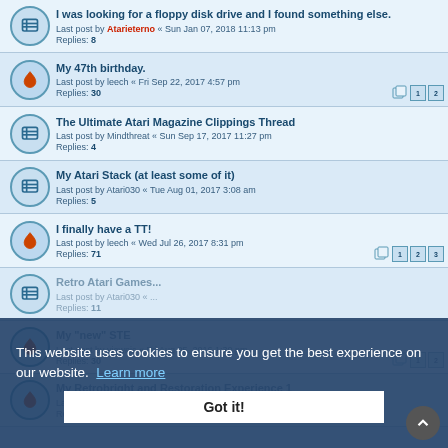I was looking for a floppy disk drive and I found something else. Last post by Atarieterno « Sun Jan 07, 2018 11:13 pm Replies: 8
My 47th birthday. Last post by leech « Fri Sep 22, 2017 4:57 pm Replies: 30
The Ultimate Atari Magazine Clippings Thread Last post by Mindthreat « Sun Sep 17, 2017 11:27 pm Replies: 4
My Atari Stack (at least some of it) Last post by Atari030 « Tue Aug 01, 2017 3:08 am Replies: 5
I finally have a TT! Last post by leech « Wed Jul 26, 2017 8:31 pm Replies: 71
Retro Atari Games... Last post by Atari030 « ... Replies: 11
My "new" STE Last post by viewnic « Fri Aug 05, 2016 1:30 pm Replies: 30
My Retrobright and Restoration Experience 1 Last post by farvardin « Sat Apr 23, 2016 1:11 pm Replies: 44
This website uses cookies to ensure you get the best experience on our website. Learn more
Got it!